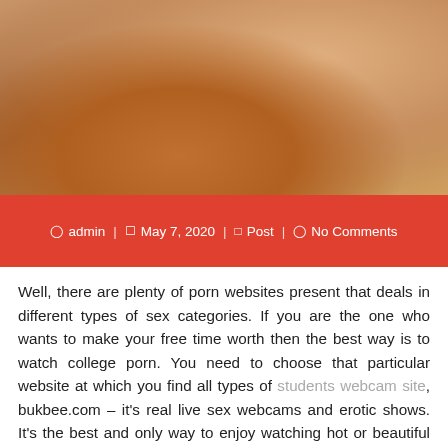[Figure (photo): Cropped photo of a person in swimwear, warm skin tones, close-up view]
admin | May 7, 2020 | Post | No Comments
Well, there are plenty of porn websites present that deals in different types of sex categories. If you are the one who wants to make your free time worth then the best way is to watch college porn. You need to choose that particular website at which you find all types of students webcam site, bukbee.com – it's real live sex webcams and erotic shows. It's the best and only way to enjoy watching hot or beautiful pornstars or models. Also, by doing so simply become able to get full satisfaction and meet all your sexual requirements.